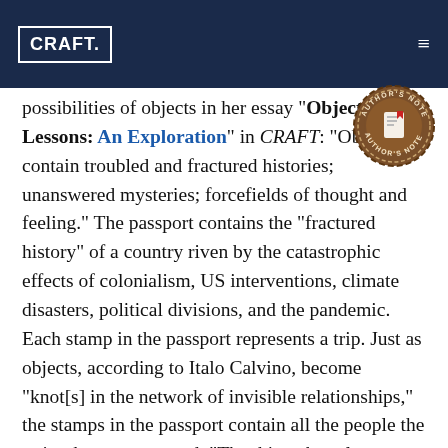CRAFT.
possibilities of objects in her essay "Object Lessons: An Exploration" in CRAFT: "Objects contain troubled and fractured histories; unanswered mysteries; forcefields of thought and feeling." The passport contains the "fractured history" of a country riven by the catastrophic effects of colonialism, US interventions, climate disasters, political divisions, and the pandemic. Each stamp in the passport represents a trip. Just as objects, according to Italo Calvino, become "knot[s] in the network of invisible relationships," the stamps in the passport contain all the people the writer has encountered. "The thing about los Hondureños, es que como dice mi abuela, hablan hasta por los codos. They all sure one of the things Awill